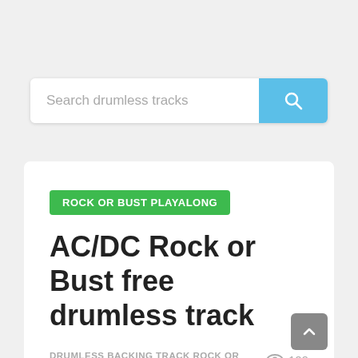Search drumless tracks
ROCK OR BUST PLAYALONG
AC/DC Rock or Bust free drumless track
DRUMLESS BACKING TRACK ROCK OR BUST AC/DC
109